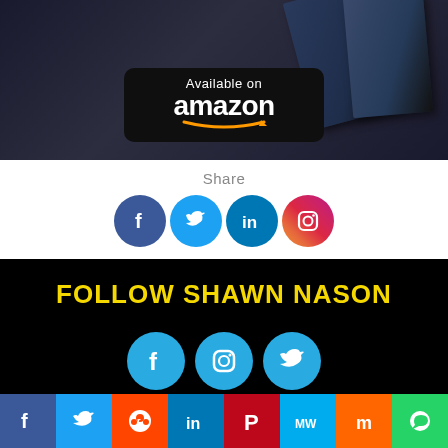[Figure (photo): Dark background photo with books and Amazon 'Available on amazon' badge]
Share
[Figure (infographic): Social share icons row: Facebook, Twitter, LinkedIn, Instagram]
FOLLOW SHAWN NASON
[Figure (infographic): Follow icons row 1: Facebook, Instagram, Twitter (cyan circles)]
[Figure (infographic): Follow icons row 2: LinkedIn, microphone/podcast, YouTube (cyan circles, partially visible)]
[Figure (infographic): Bottom share bar with icons: Facebook, Twitter, Reddit, LinkedIn, Pinterest, MeWe, Mix, WhatsApp, Share]